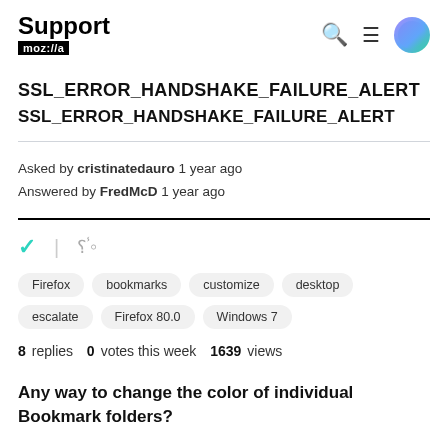Support mozilla//a
SSL_ERROR_HANDSHAKE_FAILURE_ALERT
SSL_ERROR_HANDSHAKE_FAILURE_ALERT
Asked by cristinatedauro 1 year ago
Answered by FredMcD 1 year ago
Firefox  bookmarks  customize  desktop  escalate  Firefox 80.0  Windows 7
8 replies  0 votes this week  1639 views
Any way to change the color of individual Bookmark folders?